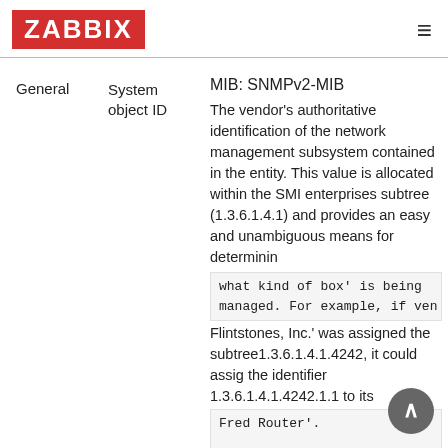ZABBIX
General
System object ID
MIB: SNMPv2-MIB

The vendor's authoritative identification of the network management subsystem contained in the entity. This value is allocated within the SMI enterprises subtree (1.3.6.1.4.1) and provides an easy and unambiguous means for determining what kind of box' is being managed. For example, if ven Flintstones, Inc.' was assigned the subtree1.3.6.1.4.1.4242, it could assign the identifier 1.3.6.1.4.1.4242.1.1 to its Fred Router'.</p> |SNMP |system.objectid[sysObjectID <p>**Preprocessing**:</p><p> DISCARD_UNCHANGED_HEARTBEAT: 12h;